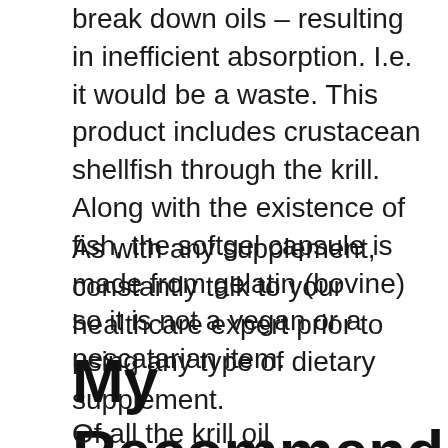break down oils – resulting in inefficient absorption. I.e. it would be a waste. This product includes crustacean shellfish through the krill. Along with the existence of fish, the softgel capsule is made from gelatin (bovine) so it is not a vegan or a pescatarian item.
As with any supplement, constantly talk to your healthcare expert prior to using any type of dietary supplement.
My Recommendations.
Of all the krill oil supplements on the